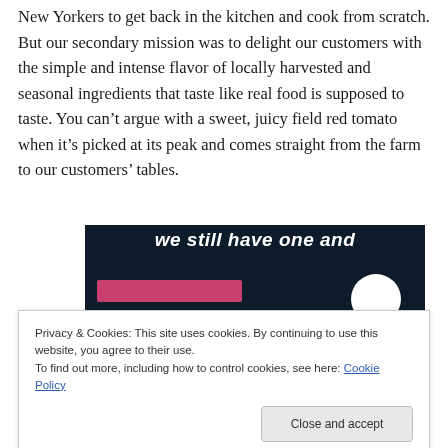New Yorkers to get back in the kitchen and cook from scratch. But our secondary mission was to delight our customers with the simple and intense flavor of locally harvested and seasonal ingredients that taste like real food is supposed to taste. You can't argue with a sweet, juicy field red tomato when it's picked at its peak and comes straight from the farm to our customers' tables.
[Figure (screenshot): Dark navy background image with white bold italic text partially visible at top, a pink/magenta button bar at the bottom left, and a white circle at the bottom right.]
Privacy & Cookies: This site uses cookies. By continuing to use this website, you agree to their use.
To find out more, including how to control cookies, see here: Cookie Policy